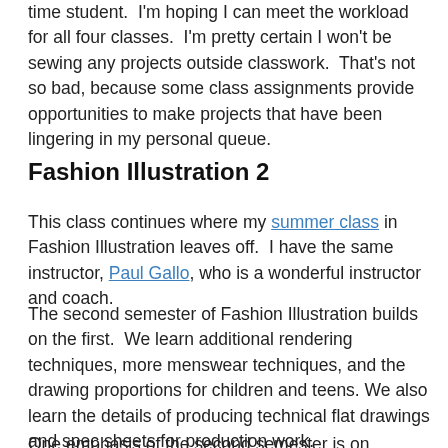time student.  I'm hoping I can meet the workload for all four classes.  I'm pretty certain I won't be sewing any projects outside classwork.  That's not so bad, because some class assignments provide opportunities to make projects that have been lingering in my personal queue.
Fashion Illustration 2
This class continues where my summer class in Fashion Illustration leaves off.  I have the same instructor, Paul Gallo, who is a wonderful instructor and coach.
The second semester of Fashion Illustration builds on the first.  We learn additional rendering techniques, more menswear techniques, and the drawing proportions for children and teens. We also learn the details of producing technical flat drawings and spec sheets for production work.
One emphasis of the second semester is on developing